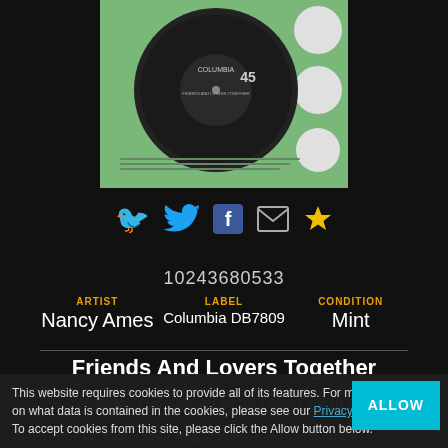[Figure (photo): Vinyl record in green Columbia sleeve with black 45 RPM disc label, white circles on right side]
[Figure (infographic): Social sharing icons row: Twitter bird (blue), Facebook (blue square with f), email envelope (grey), gold star/favourite]
10243680533
| ARTIST | LABEL | CONDITION |
| --- | --- | --- |
| Nancy Ames | Columbia DB7809 | Mint |
Friends And Lovers Together
B Side : I've Got A Lot Of Love Left In Me
This website requires cookies to provide all of its features. For more information on what data is contained in the cookies, please see our Privacy Policy page. To accept cookies from this site, please click the Allow button below.
e Sided Beat Ballad Dancer Is Just A Great